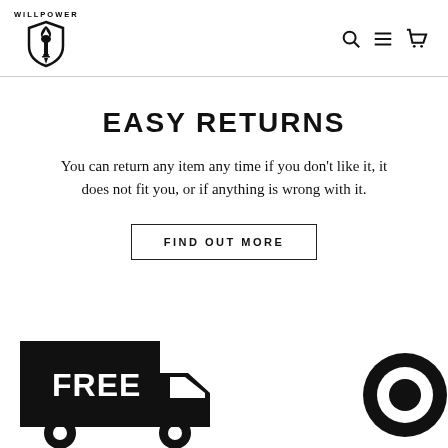WILLPOWER (logo with torch/shield icon, search, menu, cart icons)
EASY RETURNS
You can return any item any time if you don't like it, it does not fit you, or if anything is wrong with it.
FIND OUT MORE
[Figure (illustration): Free shipping delivery truck icon (black silhouette with FREE text) and a circular chat/message icon on the right]